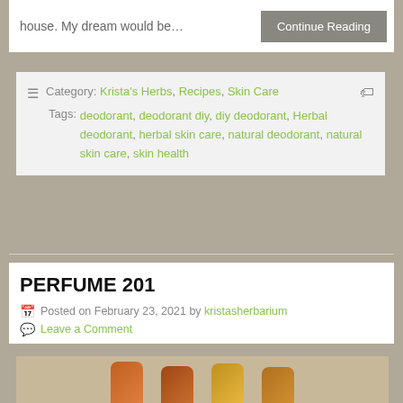house. My dream would be…
Continue Reading
☰  Category: Krista's Herbs, Recipes, Skin Care 🏷 Tags: deodorant, deodorant diy, diy deodorant, Herbal deodorant, herbal skin care, natural deodorant, natural skin care, skin health
PERFUME 201
Posted on February 23, 2021 by kristasherbarium
Leave a Comment
[Figure (photo): Four small perfume bottles with amber/golden colored liquid, arranged in a row]